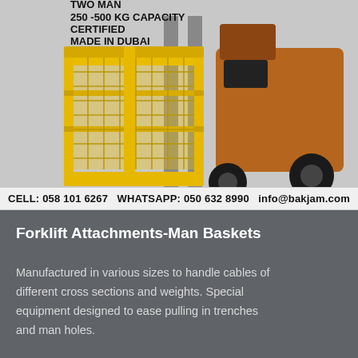[Figure (photo): Yellow forklift man basket (work platform cage) attached to a forklift. The basket is yellow steel with mesh sides and safety railings. Text overlay reads: TWO MAN, 250-500 KG CAPACITY, CERTIFIED, MADE IN DUBAI.]
CELL: 058 101 6267  WHATSAPP: 050 632 8990  info@bakjam.com
Forklift Attachments-Man Baskets
Manufactured in various sizes to handle cables of different cross sections and weights. Special equipment designed to ease pulling in trenches and man holes.